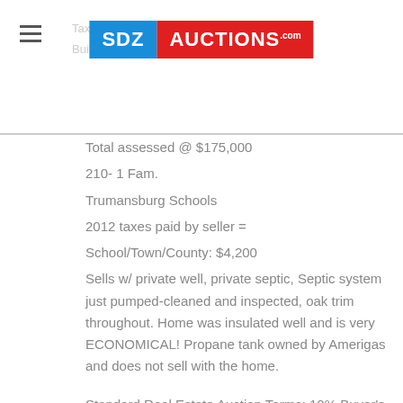Tax Map / Built in: [obscured by logo]
[Figure (logo): SDZ AUCTIONS.com logo — blue box with SDZ in white, red box with AUCTIONS.com in white]
Total assessed @ $175,000
210- 1 Fam.
Trumansburg Schools
2012 taxes paid by seller =
School/Town/County: $4,200
Sells w/ private well, private septic, Septic system just pumped-cleaned and inspected, oak trim throughout. Home was insulated well and is very ECONOMICAL! Propane tank owned by Amerigas and does not sell with the home.
Standard Real Estate Auction Terms: 10% Buyer's Premium added to final bid to equal the Total Purchase Price. 20% down